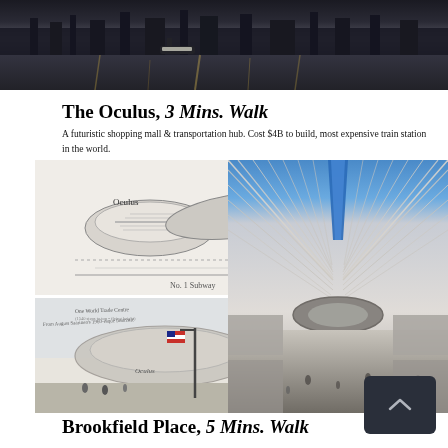[Figure (photo): Aerial/waterfront photo showing a harbor or river at dusk with dark water and golden reflections]
The Oculus, 3 Mins. Walk
A futuristic shopping mall & transportation hub. Cost $4B to build, most expensive train station in the world.
[Figure (illustration): Architectural sketch/diagram of the Oculus showing Oculus label, Mezzanine (underground), PATH tracks, and No. 1 Subway]
[Figure (illustration): Watercolor/pen sketch of the Oculus building exterior with One World Trade Center in background, American flag, and street scene]
[Figure (photo): Interior photo of the Oculus train station showing dramatic white ribbed ceiling and blue skylight strip, large open hall with people]
Brookfield Place, 5 Mins. Walk